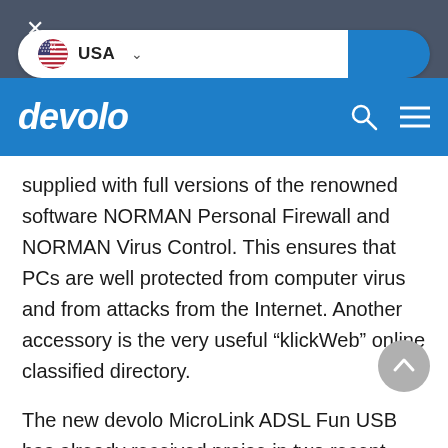[Figure (screenshot): Dark top bar with close X button and a USA country/language selector pill with blue button on right side]
[Figure (logo): devolo logo in white italic bold text on blue navigation bar, with search and hamburger menu icons]
supplied with full versions of the renowned software NORMAN Personal Firewall and NORMAN Virus Control. This ensures that PCs are well protected from computer virus and from attacks from the Internet. Another accessory is the very useful “klickWeb” online classified directory.
The new devolo MicroLink ADSL Fun USB has already received praise in two recent tests: